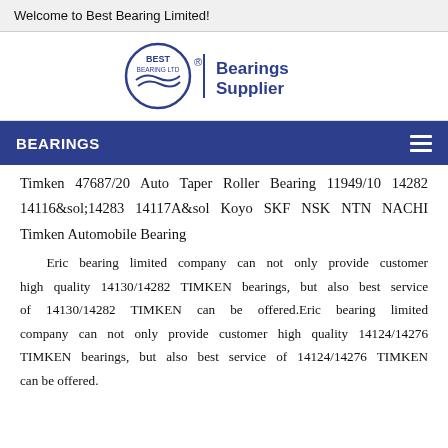Welcome to Best Bearing Limited!
[Figure (logo): Best Bearing Ltd circular logo with wave design and 'Bearings Supplier' text in dark blue]
BEARINGS
Timken 47687/20 Auto Taper Roller Bearing 11949/10 14282 14116&sol;14283 14117A&sol Koyo SKF NSK NTN NACHI Timken Automobile Bearing
Eric bearing limited company can not only provide customer high quality 14130/14282 TIMKEN bearings, but also best service of 14130/14282 TIMKEN can be offered.Eric bearing limited company can not only provide customer high quality 14124/14276 TIMKEN bearings, but also best service of 14124/14276 TIMKEN can be offered.